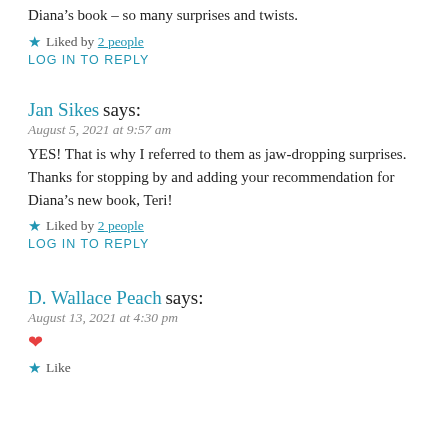Diana’s book – so many surprises and twists.
★ Liked by 2 people
LOG IN TO REPLY
Jan Sikes says:
August 5, 2021 at 9:57 am
YES! That is why I referred to them as jaw-dropping surprises. Thanks for stopping by and adding your recommendation for Diana’s new book, Teri!
★ Liked by 2 people
LOG IN TO REPLY
D. Wallace Peach says:
August 13, 2021 at 4:30 pm
❤
★ Like